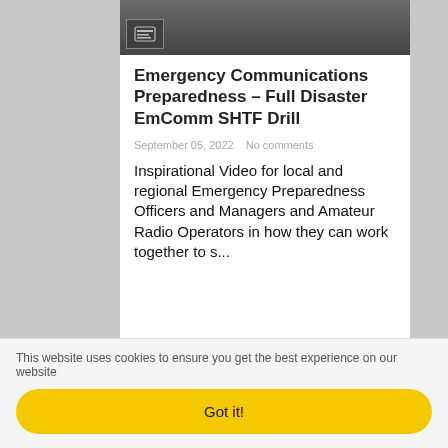[Figure (screenshot): Thumbnail image with dark background and a small icon button overlay]
Emergency Communications Preparedness – Full Disaster EmComm SHTF Drill
September 05, 2022   No comments
Inspirational Video for local and regional Emergency Preparedness Officers and Managers and Amateur Radio Operators in how they can work together to s...
This website uses cookies to ensure you get the best experience on our website
Got it!